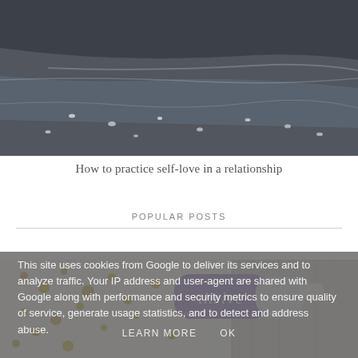[Figure (photo): Dark beach scene with wet sand, shallow water reflections, and small white pebbles scattered across the surface]
How to practice self-love in a relationship
POPULAR POSTS
[Figure (photo): Product photo showing a purple dropper bottle labeled 'thrive' lying on a surface with gold speckled paper and textured fabric in the background]
This site uses cookies from Google to deliver its services and to analyze traffic. Your IP address and user-agent are shared with Google along with performance and security metrics to ensure quality of service, generate usage statistics, and to detect and address abuse.
LEARN MORE   OK